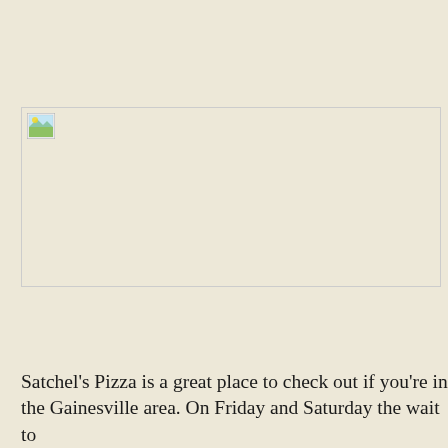[Figure (photo): A broken/missing image placeholder with a small icon, partially visible at the top of the page.]
Satchel's Pizza is a great place to check out if you're in the Gainesville area. On Friday and Saturday the wait to